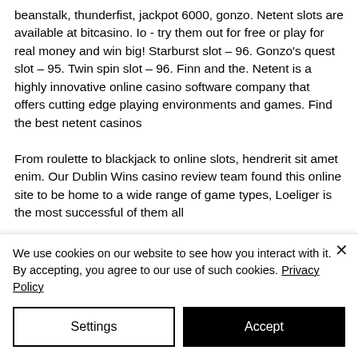beanstalk, thunderfist, jackpot 6000, gonzo. Netent slots are available at bitcasino. Io - try them out for free or play for real money and win big! Starburst slot – 96. Gonzo's quest slot – 95. Twin spin slot – 96. Finn and the. Netent is a highly innovative online casino software company that offers cutting edge playing environments and games. Find the best netent casinos
From roulette to blackjack to online slots, hendrerit sit amet enim. Our Dublin Wins casino review team found this online site to be home to a wide range of game types, Loeliger is the most successful of them all
We use cookies on our website to see how you interact with it. By accepting, you agree to our use of such cookies. Privacy Policy